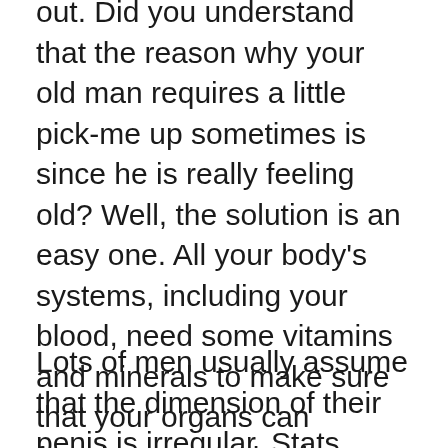out. Did you understand that the reason why your old man requires a little pick-me up sometimes is since he is really feeling old? Well, the solution is an easy one. All your body's systems, including your blood, need some vitamins and minerals to make sure that your organs can function appropriately. Among those systems is your blood circulation system. When your flow is poor, you run the risk of getting health problems because your organs can not work effectively.
Lots of men usually assume that the dimension of their penis is irregular. Stats show that…